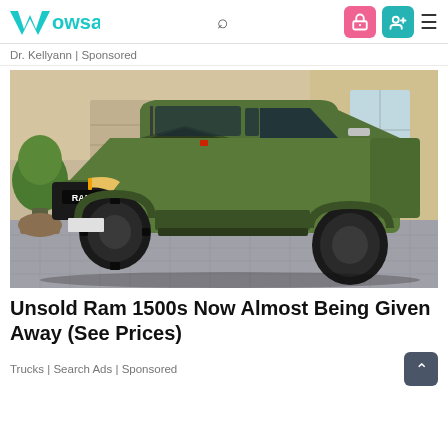Wowsa — navigation bar with search, lock icon, profile icon, hamburger menu
Dr. Kellyann | Sponsored
[Figure (photo): A matte olive-green RAM 1500 TRX pickup truck photographed in a driveway in front of a beige house with a round topiary bush on the left side. The truck faces three-quarters toward the viewer showing the grille, headlights, and large off-road tires.]
Unsold Ram 1500s Now Almost Being Given Away (See Prices)
Trucks | Search Ads | Sponsored